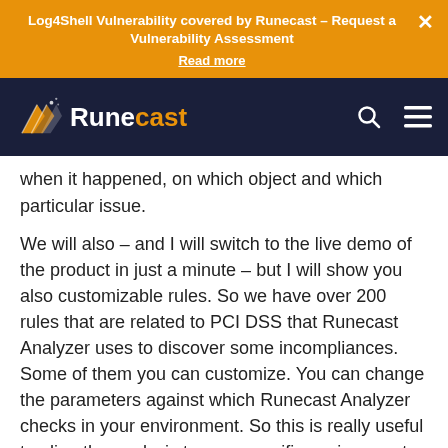Log4Shell Vulnerability covered by Runecast – Request a Vulnerability Assessment
Read more
[Figure (logo): Runecast logo with orange angular icon and text 'Runecast' where 'cast' is in orange]
when it happened, on which object and which particular issue.
We will also – and I will switch to the live demo of the product in just a minute – but I will show you also customizable rules. So we have over 200 rules that are related to PCI DSS that Runecast Analyzer uses to discover some incompliances. Some of them you can customize. You can change the parameters against which Runecast Analyzer checks in your environment. So this is really useful to align the analysis to your specific environment, your specific requirements.